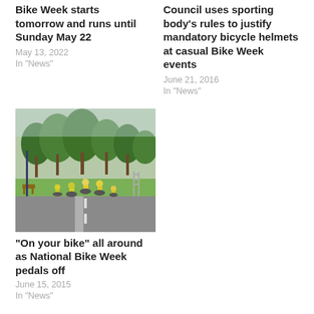Bike Week starts tomorrow and runs until Sunday May 22
May 13, 2022
In "News"
Council uses sporting body’s rules to justify mandatory bicycle helmets at casual Bike Week events
June 21, 2016
In "News"
[Figure (photo): Group of cyclists wearing yellow/green vests riding along a park path lined with trees]
“On your bike” all around as National Bike Week pedals off
June 15, 2015
In "News"
You have read this far, now please think of supporting this reader-funded journalism. The